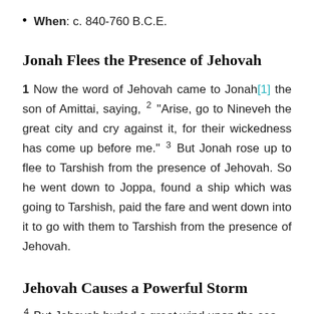When: c. 840-760 B.C.E.
Jonah Flees the Presence of Jehovah
1 Now the word of Jehovah came to Jonah[1] the son of Amittai, saying, 2 “Arise, go to Nineveh the great city and cry against it, for their wickedness has come up before me.” 3 But Jonah rose up to flee to Tarshish from the presence of Jehovah. So he went down to Joppa, found a ship which was going to Tarshish, paid the fare and went down into it to go with them to Tarshish from the presence of Jehovah.
Jehovah Causes a Powerful Storm
4 But Jehovah hurled a great wind upon the sea,